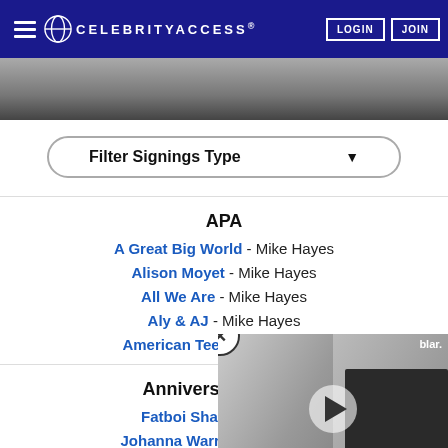CELEBRITYACCESS | LOGIN | JOIN
Filter Signings Type
APA
A Great Big World - Mike Hayes
Alison Moyet - Mike Hayes
All We Are - Mike Hayes
Aly & AJ - Mike Hayes
American Teeth - Mike Hayes
Anniversary Group
Fatboi Sharif - Jordan
Johanna Warren - Jonathan
Shoeb Ahmad - Michael Lo
Arrival Access